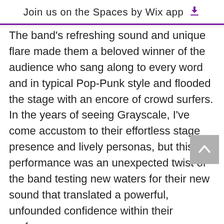Join us on the Spaces by Wix app
The band's refreshing sound and unique flare made them a beloved winner of the audience who sang along to every word and in typical Pop-Punk style and flooded the stage with an encore of crowd surfers. In the years of seeing Grayscale, I've come accustom to their effortless stage presence and lively personas, but this performance was an unexpected twist of the band testing new waters for their new sound that translated a powerful, unfounded confidence within their performance.
In the final triumph of the night Real Friends invaded the stage with a flush of chaotically enthralling energy, front man Dan Lambton b h heaps of